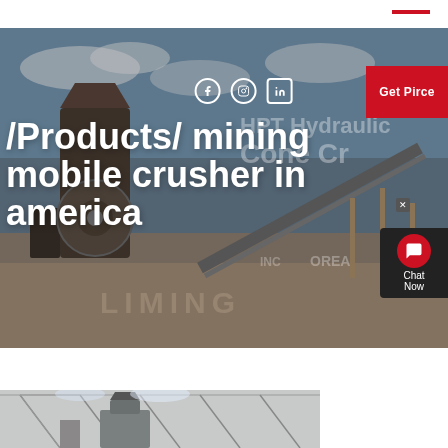[Figure (photo): Industrial mining site with large cone crusher machinery, conveyor belts, and equipment against a partly cloudy sky. Background shows text 'HPT Hydraulic Cone Crusher' and 'LIMING' watermark.]
/Products/ mining mobile crusher in america
[Figure (photo): Interior of an industrial facility showing roof trusses and heavy machinery, partially visible at the bottom of the page.]